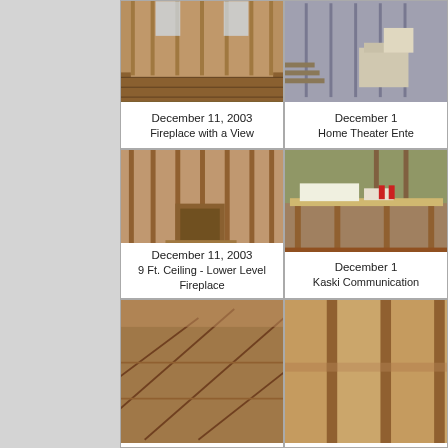[Figure (photo): Interior construction photo showing wood framing, OSB sheathing, tall windows and fireplace rough-in area, December 11, 2003]
December 11, 2003
Fireplace with a View
[Figure (photo): Interior construction photo showing metal/wood stud framing and drywall materials stacked, home theater area, December 11, 2003]
December 1[...]
Home Theater Ente[...]
[Figure (photo): Interior construction photo showing wood stud wall framing with rough fireplace opening at lower level, 9 ft ceiling, December 11, 2003]
December 11, 2003
9 Ft. Ceiling - Lower Level Fireplace
[Figure (photo): Interior construction photo showing Kaski Communication wiring setup on a workbench with plans and materials, December 2003]
December 1[...]
Kaski Communication[...]
[Figure (photo): Interior construction photo showing roof/ceiling framing with rafters and structural members, bottom left]
[Figure (photo): Interior construction photo showing wood stud wall framing detail, bottom right]